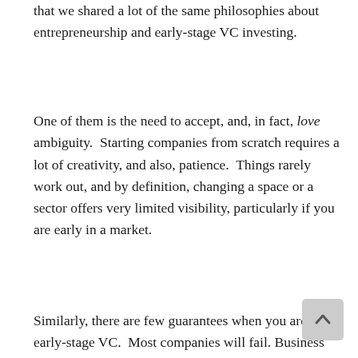that we shared a lot of the same philosophies about entrepreneurship and early-stage VC investing.
One of them is the need to accept, and, in fact, love ambiguity. Starting companies from scratch requires a lot of creativity, and also, patience. Things rarely work out, and by definition, changing a space or a sector offers very limited visibility, particularly if you are early in a market.
Similarly, there are few guarantees when you are an early-stage VC. Most companies will fail. Business plans change all the time. It’s very hard to know if a company is doing well or not when it is in the “figure it out” phases. It’s hard to put down a start-up’s plan into a spreadsheet and pass the document around a huge partnership to get support.
I’ve worked with quite a few folks over the years. And, I’ve seen very talented and capable people completely